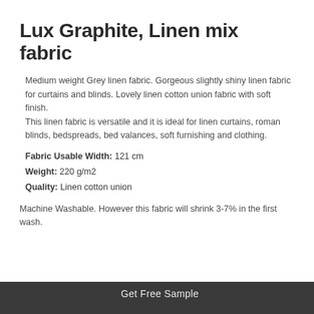Lux Graphite, Linen mix fabric
Medium weight Grey linen fabric. Gorgeous slightly shiny linen fabric for curtains and blinds. Lovely linen cotton union fabric with soft finish.
This linen fabric is versatile and it is ideal for linen curtains, roman blinds, bedspreads, bed valances, soft furnishing and clothing.
Fabric Usable Width: 121 cm
Weight: 220 g/m2
Quality: Linen cotton union
Machine Washable. However this fabric will shrink 3-7% in the first wash.
Get Free Sample